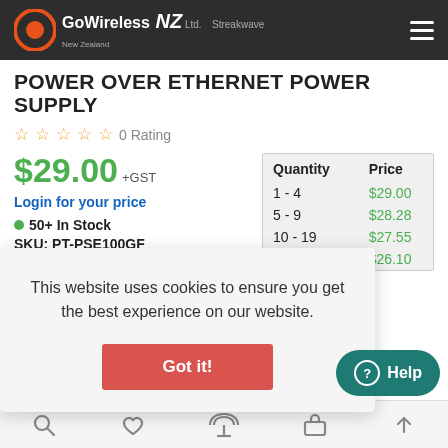Go Wireless NZ Ltd. Streakwave
POWER OVER ETHERNET POWER SUPPLY
☆ ☆ ☆ ☆ ☆  0 Rating
$29.00 +GST
Login for your price
50+ In Stock
SKU: PT-PSE100GF
| Quantity | Price |
| --- | --- |
| 1 - 4 | $29.00 |
| 5 - 9 | $28.28 |
| 10 - 19 | $27.55 |
| 20+ | $26.10 |
This website uses cookies to ensure you get the best experience on our website.
Got it!
Help